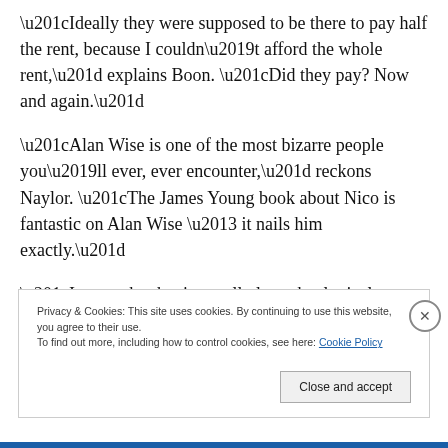“Ideally they were supposed to be there to pay half the rent, because I couldn’t afford the whole rent,” explains Boon. “Did they pay? Now and again.”
“Alan Wise is one of the most bizarre people you’ll ever, ever encounter,” reckons Naylor. “The James Young book about Nico is fantastic on Alan Wise – it nails him exactly.”
“I remember having really long theological conversations with Alan Wise – he was quite an intellectual guy,” says Fraser Reich of the self-styled doctor of theology. “I remember he dropped a big bombshell and said, ‘you
Privacy & Cookies: This site uses cookies. By continuing to use this website, you agree to their use.
To find out more, including how to control cookies, see here: Cookie Policy